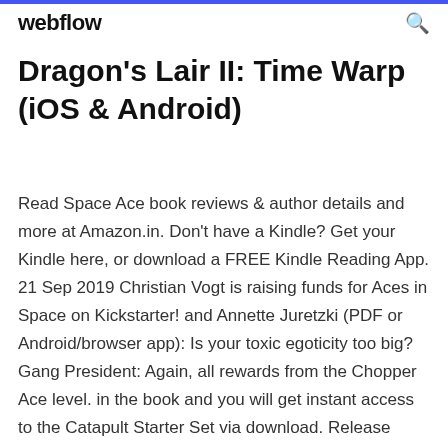webflow
Dragon's Lair II: Time Warp (iOS & Android)
Read Space Ace book reviews & author details and more at Amazon.in. Don't have a Kindle? Get your Kindle here, or download a FREE Kindle Reading App. 21 Sep 2019 Christian Vogt is raising funds for Aces in Space on Kickstarter! and Annette Juretzki (PDF or Android/browser app): Is your toxic egoticity too big? Gang President: Again, all rewards from the Chopper Ace level. in the book and you will get instant access to the Catapult Starter Set via download. Release dates for Space Ace (3DO) database containing game